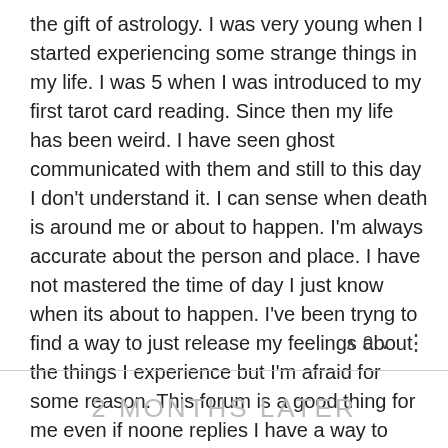the gift of astrology. I was very young when I started experiencing some strange things in my life. I was 5 when I was introduced to my first tarot card reading. Since then my life has been weird. I have seen ghost communicated with them and still to this day I don't understand it. I can sense when death is around me or about to happen. I'm always accurate about the person and place. I have not mastered the time of day I just know when its about to happen. I've been tryng to find a way to just release my feelings about the things I experience but I'm afraid for some reason. This forum is a good thing for me even if noone replies I have a way to release my thoughts. To anyone how do you become one with ur gift.
∧ 0 ∨ ⋮
2 MONTHS LATER